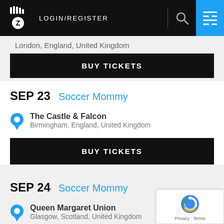LOGIN/REGISTER
London, England, United Kingdom
BUY TICKETS
SEP 23  Soccer Mommy
The Castle & Falcon
Birmingham, England, United Kingdom
BUY TICKETS
SEP 24  Soccer Mommy
Queen Margaret Union
Glasgow, Scotland, United Kingdom